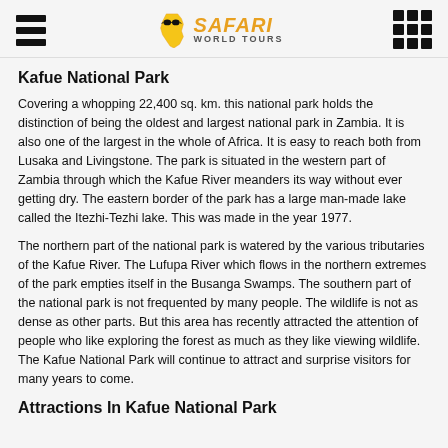Safari World Tours
Kafue National Park
Covering a whopping 22,400 sq. km. this national park holds the distinction of being the oldest and largest national park in Zambia. It is also one of the largest in the whole of Africa. It is easy to reach both from Lusaka and Livingstone. The park is situated in the western part of Zambia through which the Kafue River meanders its way without ever getting dry. The eastern border of the park has a large man-made lake called the Itezhi-Tezhi lake. This was made in the year 1977.
The northern part of the national park is watered by the various tributaries of the Kafue River. The Lufupa River which flows in the northern extremes of the park empties itself in the Busanga Swamps. The southern part of the national park is not frequented by many people. The wildlife is not as dense as other parts. But this area has recently attracted the attention of people who like exploring the forest as much as they like viewing wildlife. The Kafue National Park will continue to attract and surprise visitors for many years to come.
Attractions In Kafue National Park